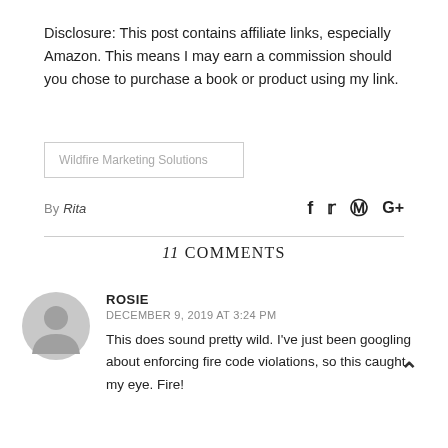Disclosure: This post contains affiliate links, especially Amazon. This means I may earn a commission should you chose to purchase a book or product using my link.
Wildfire Marketing Solutions
By Rita
11 COMMENTS
ROSIE
DECEMBER 9, 2019 AT 3:24 PM
This does sound pretty wild. I've just been googling about enforcing fire code violations, so this caught my eye. Fire!